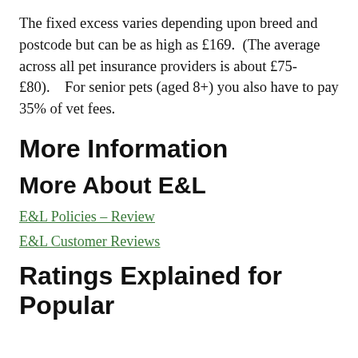The fixed excess varies depending upon breed and postcode but can be as high as £169.  (The average across all pet insurance providers is about £75-£80).    For senior pets (aged 8+) you also have to pay 35% of vet fees.
More Information
More About E&L
E&L Policies – Review
E&L Customer Reviews
Ratings Explained for Popular